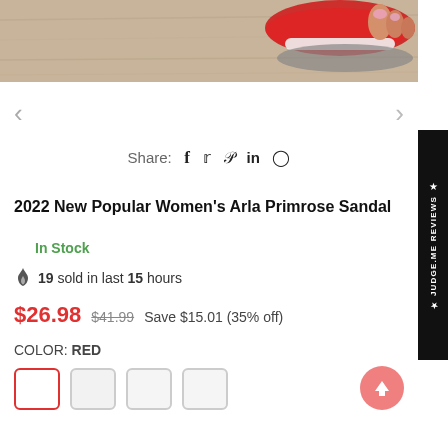[Figure (photo): Close-up photo of a red and white women's sandal on a wood-grain floor surface]
< >
Share: f 𝕏 ℗ in ⊙
2022 New Popular Women's Arla Primrose Sandal
In Stock
19 sold in last 15 hours
$26.98  $41.99  Save $15.01 (35% off)
COLOR: RED